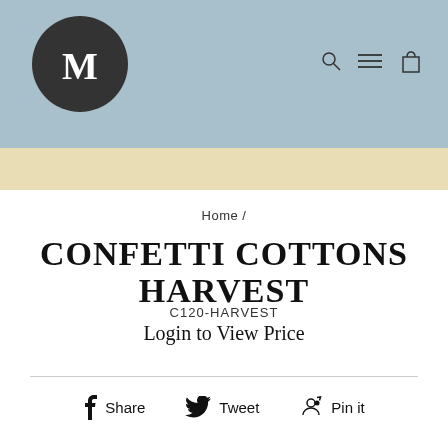[Figure (logo): Dark circle logo with white letter M in the center, on a blue-grey header background with navigation icons (search, menu, cart) on the right]
Home /
CONFETTI COTTONS HARVEST
C120-HARVEST
Login to View Price
Share   Tweet   Pin it